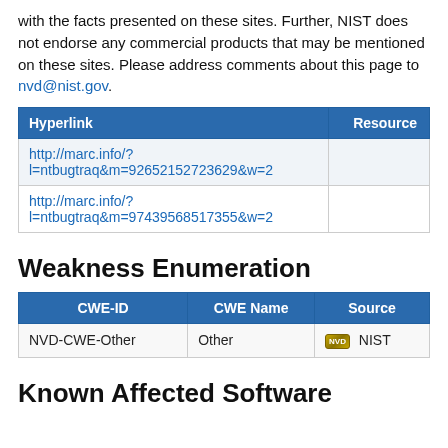with the facts presented on these sites. Further, NIST does not endorse any commercial products that may be mentioned on these sites. Please address comments about this page to nvd@nist.gov.
| Hyperlink | Resource |
| --- | --- |
| http://marc.info/?l=ntbugtraq&m=92652152723629&w=2 |  |
| http://marc.info/?l=ntbugtraq&m=97439568517355&w=2 |  |
Weakness Enumeration
| CWE-ID | CWE Name | Source |
| --- | --- | --- |
| NVD-CWE-Other | Other | NVD NIST |
Known Affected Software